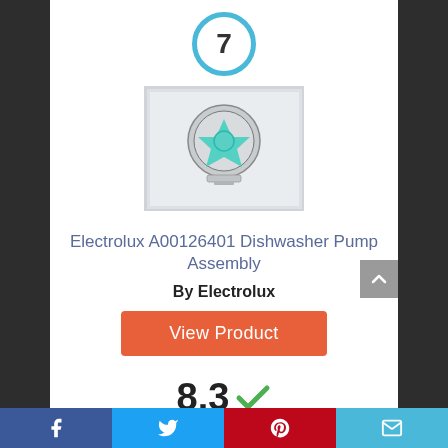7
[Figure (photo): Product photo of Electrolux A00126401 Dishwasher Pump Assembly — a small round grey/white pump part with a teal/green center star shape]
Electrolux A00126401 Dishwasher Pump Assembly
By Electrolux
View Product
8.3 ✓
Score
[Figure (infographic): Social sharing bar at bottom with Facebook, Twitter, Pinterest, and email icons]